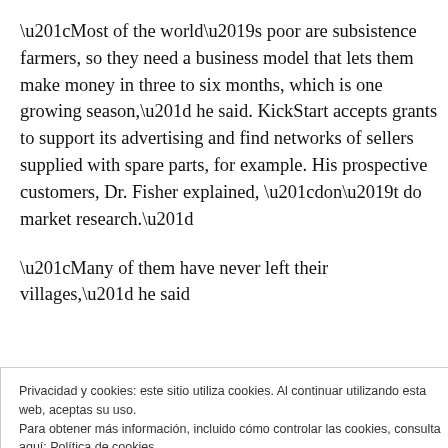“Most of the world’s poor are subsistence farmers, so they need a business model that lets them make money in three to six months, which is one growing season,” he said. KickStart accepts grants to support its advertising and find networks of sellers supplied with spare parts, for example. His prospective customers, Dr. Fisher explained, “don’t do market research.”
“Many of them have never left their villages,” he said
[Figure (other): Blue 'Apply' button and partial photo of a person (man with beard) in a circular crop, partially visible]
Privacidad y cookies: este sitio utiliza cookies. Al continuar utilizando esta web, aceptas su uso.
Para obtener más información, incluido cómo controlar las cookies, consulta aquí: Política de cookies
Cerrar y aceptar